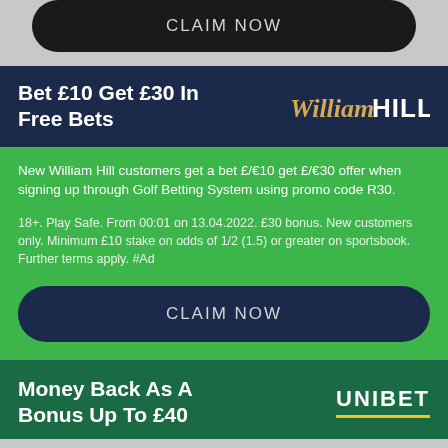[Figure (screenshot): Top partial CLAIM NOW dark button on grey background]
Bet £10 Get £30 In Free Bets
[Figure (logo): William Hill logo in gold italic script and white bold text]
New William Hill customers get a bet £/€10 get £/€30 offer when signing up through Golf Betting System using promo code R30.
18+. Play Safe. From 00:01 on 13.04.2022. £30 bonus. New customers only. Minimum £10 stake on odds of 1/2 (1.5) or greater on sportsbook. Further terms apply. #Ad
CLAIM NOW
Money Back As A Bonus Up To £40
[Figure (logo): UNIBET logo in white bold text]